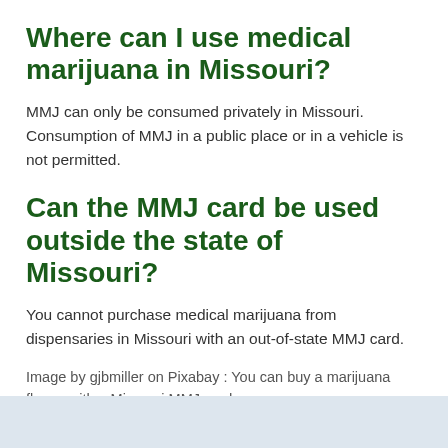Where can I use medical marijuana in Missouri?
MMJ can only be consumed privately in Missouri. Consumption of MMJ in a public place or in a vehicle is not permitted.
Can the MMJ card be used outside the state of Missouri?
You cannot purchase medical marijuana from dispensaries in Missouri with an out-of-state MMJ card.
Image by gjbmiller on Pixabay : You can buy a marijuana flower with a Missouri MMJ card.
[Figure (photo): Light blue/grey image placeholder at the bottom of the page]